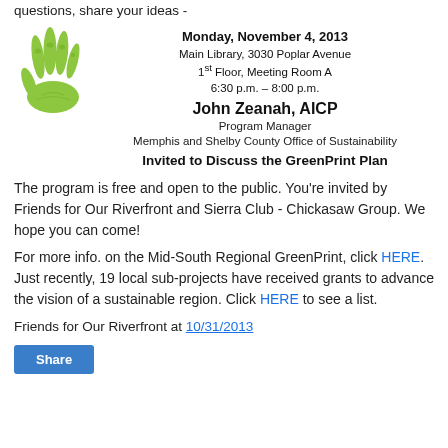questions, share your ideas -
[Figure (illustration): Green hand print icon with event details: Monday, November 4, 2013, Main Library, 3030 Poplar Avenue, 1st Floor, Meeting Room A, 6:30 p.m. – 8:00 p.m. John Zeanah, AICP, Program Manager, Memphis and Shelby County Office of Sustainability. Invited to Discuss the GreenPrint Plan.]
The program is free and open to the public. You're invited by Friends for Our Riverfront and Sierra Club - Chickasaw Group. We hope you can come!
For more info. on the Mid-South Regional GreenPrint, click HERE. Just recently, 19 local sub-projects have received grants to advance the vision of a sustainable region. Click HERE to see a list.
Friends for Our Riverfront at 10/31/2013
Share